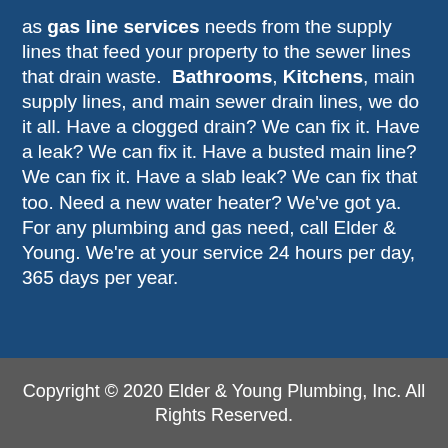as gas line services needs from the supply lines that feed your property to the sewer lines that drain waste. Bathrooms, Kitchens, main supply lines, and main sewer drain lines, we do it all. Have a clogged drain? We can fix it. Have a leak? We can fix it. Have a busted main line? We can fix it. Have a slab leak? We can fix that too. Need a new water heater? We've got ya. For any plumbing and gas need, call Elder & Young. We're at your service 24 hours per day, 365 days per year.
Copyright © 2020 Elder & Young Plumbing, Inc. All Rights Reserved.